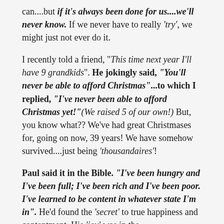can....but if it's always been done for us....we'll never know. If we never have to really 'try', we might just not ever do it.
I recently told a friend, "This time next year I'll have 9 grandkids". He jokingly said, "You'll never be able to afford Christmas"...to which I replied, "I've never been able to afford Christmas yet!"(We raised 5 of our own!) But, you know what?? We've had great Christmases for, going on now, 39 years! We have somehow survived....just being 'thousandaires'!
Paul said it in the Bible. "I've been hungry and I've been full; I've been rich and I've been poor. I've learned to be content in whatever state I'm in". He'd found the 'secret' to true happiness and contentment. His 'joy' was in the